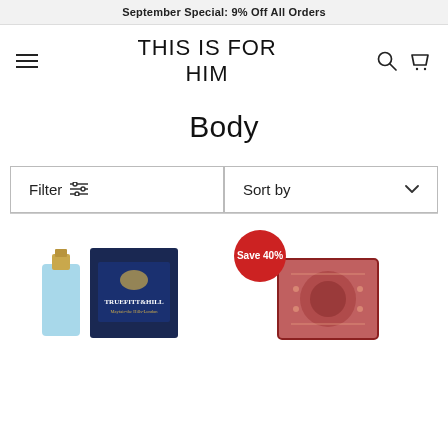September Special: 9% Off All Orders
THIS IS FOR HIM
Body
Filter
Sort by
[Figure (photo): Truefitt & Hill cologne bottle and box product photo]
[Figure (photo): Product with Save 40% badge, red/pink decorative box]